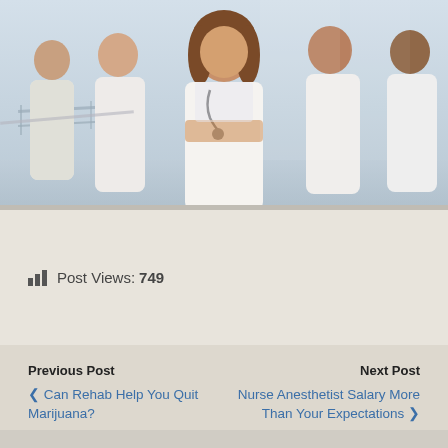[Figure (photo): Group of medical professionals in white coats and scrubs standing together in a hospital hallway. A woman with a stethoscope stands in the center with arms crossed, smiling at the camera.]
Post Views: 749
Previous Post
< Can Rehab Help You Quit Marijuana?
Next Post
Nurse Anesthetist Salary More Than Your Expectations >